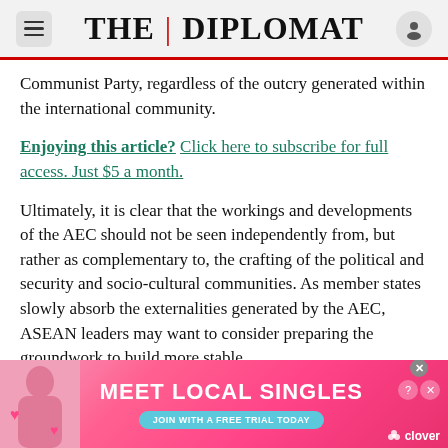THE DIPLOMAT
Communist Party, regardless of the outcry generated within the international community.
Enjoying this article? Click here to subscribe for full access. Just $5 a month.
Ultimately, it is clear that the workings and developments of the AEC should not be seen independently from, but rather as complementary to, the crafting of the political and security and socio-cultural communities. As member states slowly absorb the externalities generated by the AEC, ASEAN leaders may want to consider preparing the groundwork to build more stable
[Figure (screenshot): Advertisement banner: MEET LOCAL SINGLES - JOIN WITH A FREE TRIAL TODAY - clover]